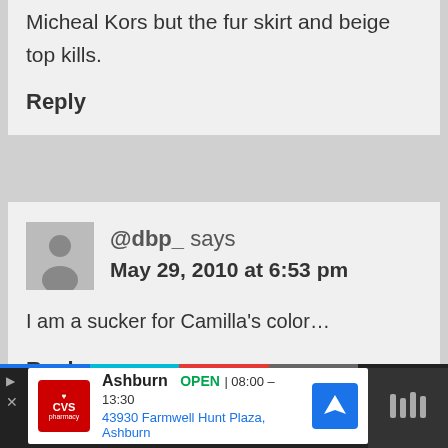Micheal Kors but the fur skirt and beige top kills.
Reply
@dbp_ says
May 29, 2010 at 6:53 pm
I am a sucker for Camilla's color…
Reply
[Figure (screenshot): CVS Pharmacy advertisement banner showing store in Ashburn, OPEN 08:00-13:30, 43930 Farmwell Hunt Plaza, Ashburn]